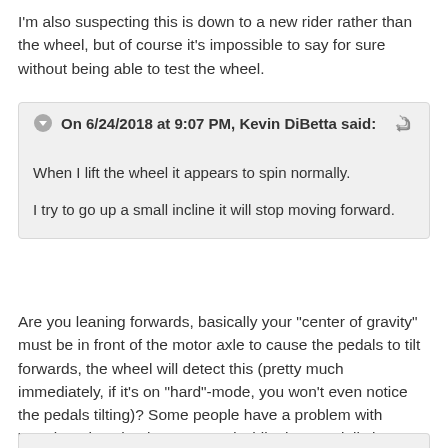I'm also suspecting this is down to a new rider rather than the wheel, but of course it's impossible to say for sure without being able to test the wheel.
On 6/24/2018 at 9:07 PM, Kevin DiBetta said:

When I lift the wheel it appears to spin normally.

I try to go up a small incline it will stop moving forward.
Are you leaning forwards, basically your "center of gravity" must be in front of the motor axle to cause the pedals to tilt forwards, the wheel will detect this (pretty much immediately, if it's on "hard"-mode, you won't even notice the pedals tilting)? Some people have a problem with "trusting" the wheel at start, and while they partially lean forwards, they still keep the pedals level and the wheel won't accelerate.